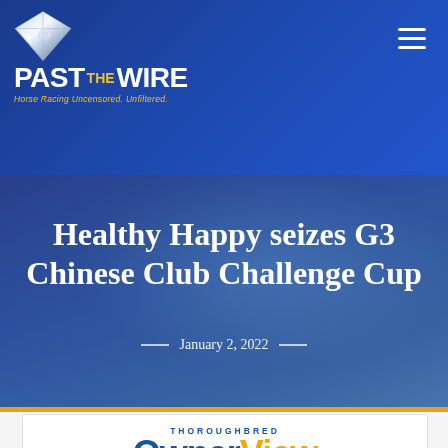[Figure (logo): Past The Wire logo with diamond/horse icon and tagline 'Horse Racing Uncensored. Unfiltered.']
Healthy Happy seizes G3 Chinese Club Challenge Cup
January 2, 2022
[Figure (illustration): Thoroughbred OwnerView advertisement banner - 'The Jockey Club and TOBA, encouraging Thoroughbred ownership']
[Figure (infographic): Social sharing buttons: Facebook, Twitter, Pinterest, Email, ShareThis, and chat bubble with 0 count]